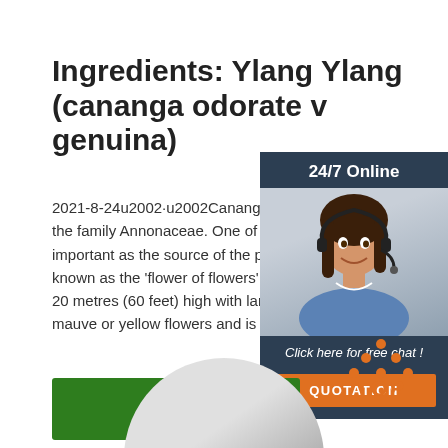Ingredients: Ylang Ylang (cananga odorate v genuina)
2021-8-24u2002·u2002Cananga is a small genus of the family Annonaceae. One of its species, Cananga odorata, is important as the source of the perfume ylang-ylang, known as the 'flower of flowers'. It is a tall tropical tree 20 metres (60 feet) high with large, tender, fragrant, mauve or yellow flowers and is cultivated in Java...
[Figure (other): Customer service representative with headset, 24/7 Online chat widget with QUOTATION button]
Get Price
[Figure (logo): Orange TOP icon with dots arranged in triangle pattern above the word TOP]
[Figure (photo): Partial view of a circular metallic/silver product container at bottom of page]